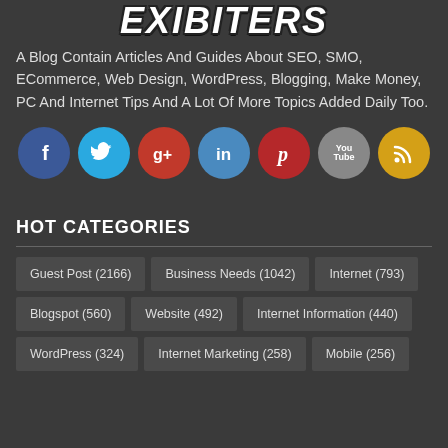[Figure (logo): Blog logo with stylized text in white with dark outline/shadow effect]
A Blog Contain Articles And Guides About SEO, SMO, ECommerce, Web Design, WordPress, Blogging, Make Money, PC And Internet Tips And A Lot Of More Topics Added Daily Too.
[Figure (infographic): Social media icons row: Facebook (blue circle), Twitter (cyan circle), Google+ (red circle), LinkedIn (blue circle), Pinterest (dark red circle), YouTube (gray circle), RSS (orange/gold circle)]
HOT CATEGORIES
Guest Post (2166)
Business Needs (1042)
Internet (793)
Blogspot (560)
Website (492)
Internet Information (440)
WordPress (324)
Internet Marketing (258)
Mobile (256)